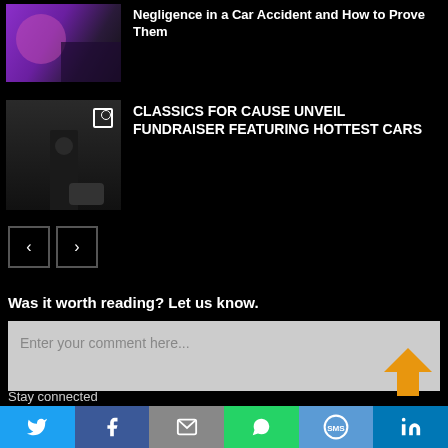[Figure (photo): Thumbnail image with purple/pink tones, car accident article]
Negligence in a Car Accident and How to Prove Them
[Figure (photo): Thumbnail image showing a person in black with equipment, classics car fundraiser article]
CLASSICS FOR CAUSE UNVEIL FUNDRAISER FEATURING HOTTEST CARS
[Figure (other): Navigation arrows: left arrow and right arrow buttons]
Was it worth reading? Let us know.
Enter your comment here...
Stay connected
Twitter | Facebook | Email | WhatsApp | SMS | LinkedIn social sharing bar